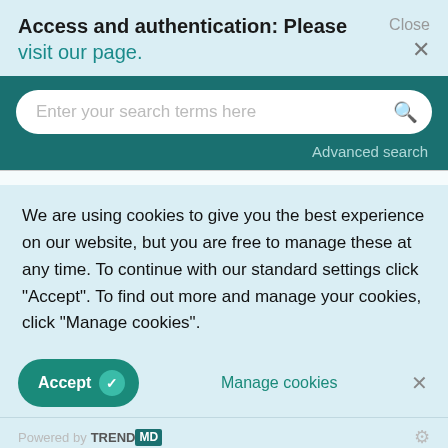Access and authentication: Please visit our page.
[Figure (screenshot): Search bar UI with teal background and rounded input field reading 'Enter your search terms here' with a search icon and 'Advanced search' link]
We are using cookies to give you the best experience on our website, but you are free to manage these at any time. To continue with our standard settings click "Accept". To find out more and manage your cookies, click "Manage cookies".
Accept   Manage cookies   ×
Powered by TRENDMD